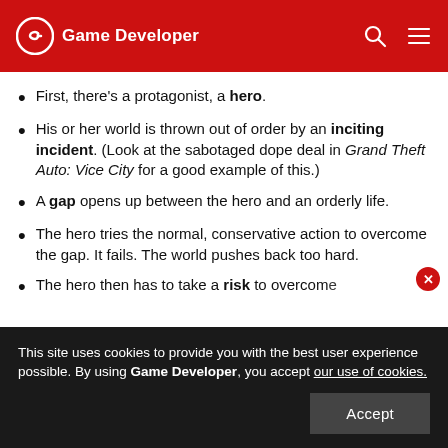Game Developer
First, there’s a protagonist, a hero.
His or her world is thrown out of order by an inciting incident. (Look at the sabotaged dope deal in Grand Theft Auto: Vice City for a good example of this.)
A gap opens up between the hero and an orderly life.
The hero tries the normal, conservative action to overcome the gap. It fails. The world pushes back too hard.
The hero then has to take a risk to overcome…
This site uses cookies to provide you with the best user experience possible. By using Game Developer, you accept our use of cookies.